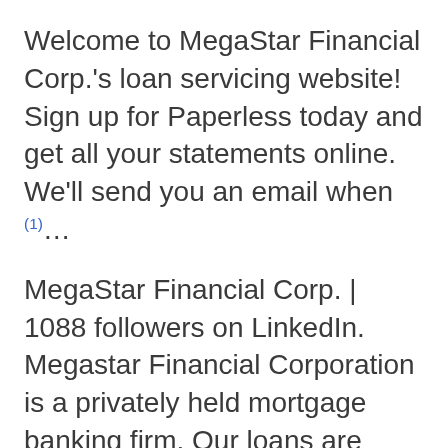Welcome to MegaStar Financial Corp.'s loan servicing website! Sign up for Paperless today and get all your statements online. We'll send you an email when (1)...
MegaStar Financial Corp. | 1088 followers on LinkedIn. Megastar Financial Corporation is a privately held mortgage banking firm. Our loans are processed, (2)...
1080 Cherokee St. Denver, CO 80204. Golden Triangle, Southwest. Directions ·